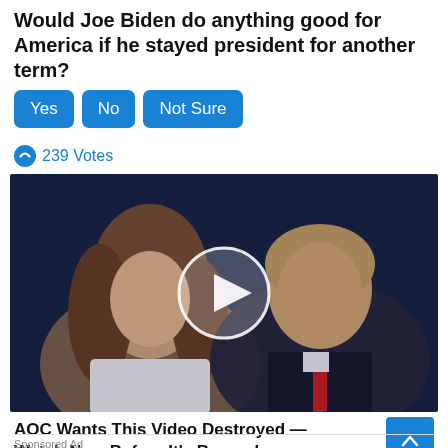Would Joe Biden do anything good for America if he stayed president for another term?
Yes   No   Not Sure
239 Votes
[Figure (photo): Video thumbnail showing two people with a circular play button overlay in the center]
AOC Wants This Video Destroyed — Watch Now Before It's Banned
649,995
Sponsored Ad